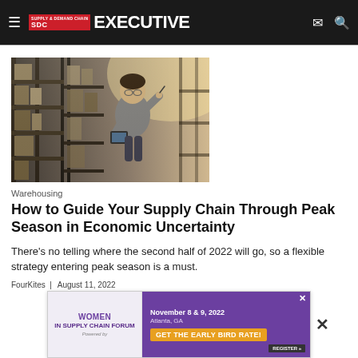Supply & Demand Chain Executive
[Figure (photo): Person in a warehouse checking shelves with a tablet or clipboard, wearing a grey shirt and glasses, with industrial shelving filled with boxes in the background.]
Warehousing
How to Guide Your Supply Chain Through Peak Season in Economic Uncertainty
There's no telling where the second half of 2022 will go, so a flexible strategy entering peak season is a must.
FourKites   |   August 11, 2022
[Figure (infographic): Advertisement for Women in Supply Chain Forum, November 8 & 9, 2022, Atlanta, GA. Purple background with text GET THE EARLY BIRD RATE! and a REGISTER button.]